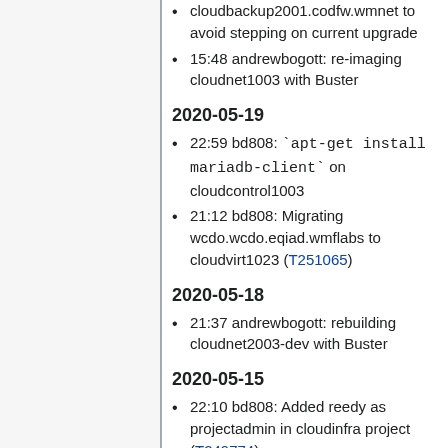cloudbackup2001.codfw.wmnet to avoid stepping on current upgrade
15:48 andrewbogott: re-imaging cloudnet1003 with Buster
2020-05-19
22:59 bd808: `apt-get install mariadb-client` on cloudcontrol1003
21:12 bd808: Migrating wcdo.wcdo.eqiad.wmflabs to cloudvirt1023 (T251065)
2020-05-18
21:37 andrewbogott: rebuilding cloudnet2003-dev with Buster
2020-05-15
22:10 bd808: Added reedy as projectadmin in cloudinfra project (T249774)